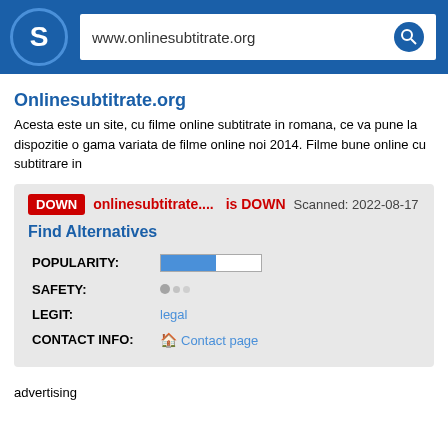[Figure (screenshot): Website status checker page header with blue S logo and URL bar showing www.onlinesubtitrate.org]
Onlinesubtitrate.org
Acesta este un site, cu filme online subtitrate in romana, ce va pune la dispozitie o gama variata de filme online noi 2014. Filme bune online cu subtitrare in
DOWN onlinesubtitrate....  is DOWN  Scanned: 2022-08-17
Find Alternatives
|  |  |
| --- | --- |
| POPULARITY: |  |
| SAFETY: |  |
| LEGIT: | legal |
| CONTACT INFO: | Contact page |
advertising